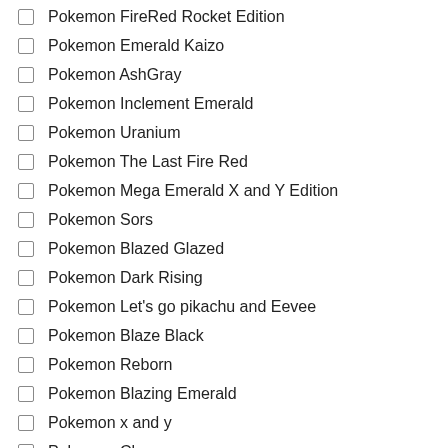Pokemon FireRed Rocket Edition
Pokemon Emerald Kaizo
Pokemon AshGray
Pokemon Inclement Emerald
Pokemon Uranium
Pokemon The Last Fire Red
Pokemon Mega Emerald X and Y Edition
Pokemon Sors
Pokemon Blazed Glazed
Pokemon Dark Rising
Pokemon Let's go pikachu and Eevee
Pokemon Blaze Black
Pokemon Reborn
Pokemon Blazing Emerald
Pokemon x and y
Pokemon Clover